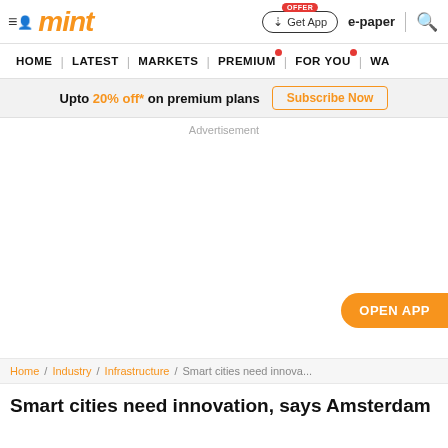mint
HOME | LATEST | MARKETS | PREMIUM | FOR YOU | WA...
Upto 20% off* on premium plans  Subscribe Now
Advertisement
OPEN APP
Home / Industry / Infrastructure / Smart cities need innova...
Smart cities need innovation, says Amsterdam